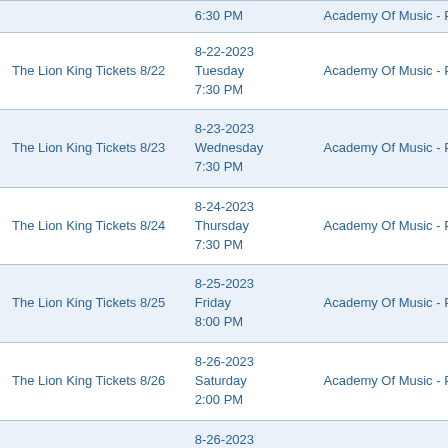| Event | Date/Time | Venue |
| --- | --- | --- |
|  | 6:30 PM | Academy Of Music - PA in P |
| The Lion King Tickets 8/22 | 8-22-2023
Tuesday
7:30 PM | Academy Of Music - PA in P |
| The Lion King Tickets 8/23 | 8-23-2023
Wednesday
7:30 PM | Academy Of Music - PA in P |
| The Lion King Tickets 8/24 | 8-24-2023
Thursday
7:30 PM | Academy Of Music - PA in P |
| The Lion King Tickets 8/25 | 8-25-2023
Friday
8:00 PM | Academy Of Music - PA in P |
| The Lion King Tickets 8/26 | 8-26-2023
Saturday
2:00 PM | Academy Of Music - PA in P |
| The Lion King Tickets 8/26 | 8-26-2023
Saturday
8:00 PM | Academy Of Music - PA in P |
| The Lion King Tickets 8/27 | 8-27-2023
Sunday
1:00 PM | Academy Of Music - PA in P |
| The Lion King Tickets 8/27 | 8-27-2023
Sunday | Academy Of Music - PA in P |